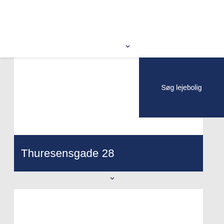[Figure (logo): JHB Ejendomme logo with wave graphic and text 'EN DEL AF LILLEBÆLT GRUPPEN A/S']
Søg lejebolig
Thuresensgade 28